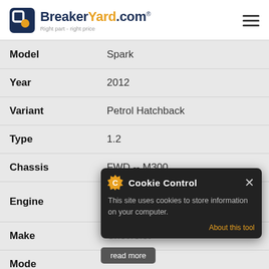BreakerYard.com - Right part - right price
| Field | Value |
| --- | --- |
| Model | Spark |
| Year | 2012 |
| Variant | Petrol Hatchback |
| Type | 1.2 |
| Chassis | FWD -- M300 |
| Engine | 1199cc 61KW 83HP LC5(73CUL4) |
| Make | Chevrolet |
| Model | Spark |
| Year | 2012 |
| Variant | Petrol Hatchback |
[Figure (other): Cookie Control popup overlay: 'This site uses cookies to store information on your computer. About this tool' with read more button]